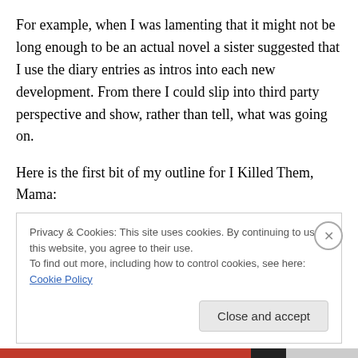For example, when I was lamenting that it might not be long enough to be an actual novel a sister suggested that I use the diary entries as intros into each new development. From there I could slip into third party perspective and show, rather than tell, what was going on.
Here is the first bit of my outline for I Killed Them, Mama:
1. Amelia May Green is now Mrs. Lawrence.
1. Describe the wedding a little bit.
2. Say how she doesn’t understand why her mother
Privacy & Cookies: This site uses cookies. By continuing to use this website, you agree to their use.
To find out more, including how to control cookies, see here: Cookie Policy